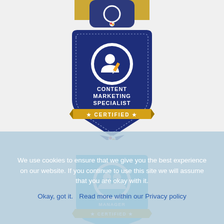[Figure (illustration): Partial top of a certification badge with gold ribbon and blue shield, partially cut off at top of page]
[Figure (illustration): Content Marketing Specialist Certified badge — dark navy blue shield shape with white circle, person-with-pen icon, text 'CONTENT MARKETING SPECIALIST' and gold 'CERTIFIED' ribbon banner, small multicolor logo dot at bottom]
[Figure (illustration): Community Manager Certified badge — light blue shield with chat/people icon, text 'COMMUNITY MANAGER' and gold 'CERTIFIED' ribbon banner, partially obscured by cookie overlay]
We use cookies to ensure that we give you the best experience on our website. If you continue to use this site we will assume that you are okay with it.
Okay, got it.   Read more within our Privacy policy